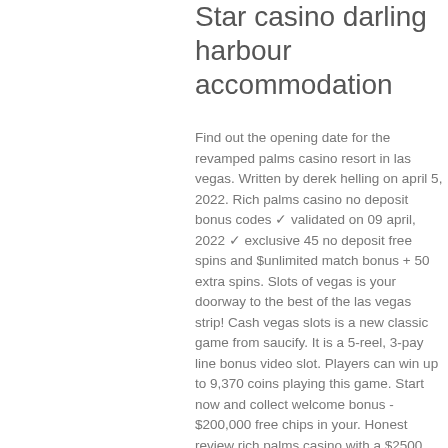Star casino darling harbour accommodation
Find out the opening date for the revamped palms casino resort in las vegas. Written by derek helling on april 5, 2022. Rich palms casino no deposit bonus codes ✓ validated on 09 april, 2022 ✓ exclusive 45 no deposit free spins and $unlimited match bonus + 50 extra spins. Slots of vegas is your doorway to the best of the las vegas strip! Cash vegas slots is a new classic game from saucify. It is a 5-reel, 3-pay line bonus video slot. Players can win up to 9,370 coins playing this game. Start now and collect welcome bonus - $200,000 free chips in your. Honest review rich palms casino with a $2500 welcome bonus. Rich palms $40 free ndb, exclusive bonus codes, games, deposit options, promotions. Rich palms casino us. $2500 welcome bonus, bitcoin bonuses, new promotions, plus new daily tours bonuses.